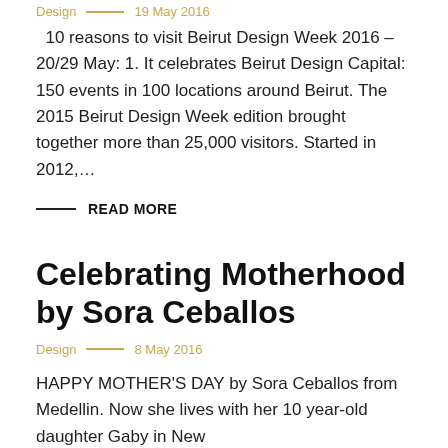Design  ————  19 May 2016
10 reasons to visit Beirut Design Week 2016 – 20/29 May: 1. It celebrates Beirut Design Capital: 150 events in 100 locations around Beirut. The 2015 Beirut Design Week edition brought together more than 25,000 visitors. Started in 2012,…
READ MORE
Celebrating Motherhood by Sora Ceballos
Design  ————  8 May 2016
HAPPY MOTHER'S DAY by Sora Ceballos from Medellin. Now she lives with her 10 year-old daughter Gaby in New